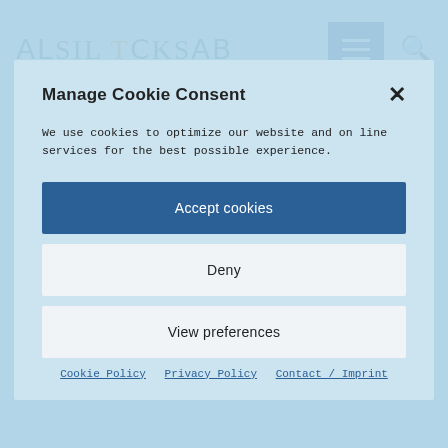[Figure (logo): Asil Toksal logo in teal/turquoise stylized lettering with gold dot accent]
are established by the mind, levels of trust established by the heart, by your physical body, by your energetic body. You will learn to
Manage Cookie Consent
We use cookies to optimize our website and online services for the best possible experience.
Accept cookies
Deny
View preferences
Cookie Policy   Privacy Policy   Contact / Imprint